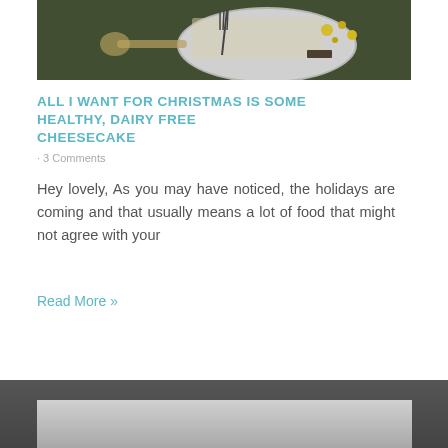[Figure (photo): Food photograph showing a plate with a slice of cheesecake, a fork, and crumbled toppings on a dark green background]
ALL I WANT FOR CHRISTMAS IS SOME HEALTHY, DAIRY FREE CHEESECAKE
3 Comments
Hey lovely, As you may have noticed, the holidays are coming and that usually means a lot of food that might not agree with your
Read More »
[Figure (photo): Partial food photograph at the bottom of the page, showing a gray/light colored subject on a dark background]